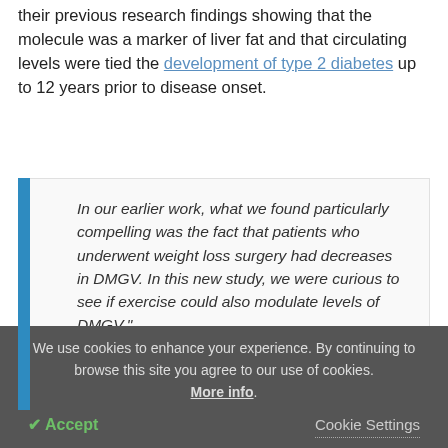their previous research findings showing that the molecule was a marker of liver fat and that circulating levels were tied the development of type 2 diabetes up to 12 years prior to disease onset.
"In our earlier work, what we found particularly compelling was the fact that patients who underwent weight loss surgery had decreases in DMGV. In this new study, we were curious to see if exercise could also modulate levels of DMGV."
We use cookies to enhance your experience. By continuing to browse this site you agree to our use of cookies. More info.